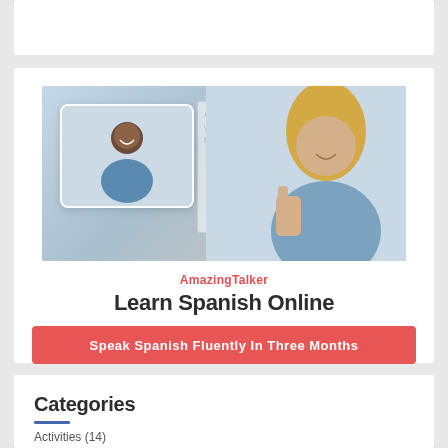[Figure (photo): AmazingTalker advertisement showing an online Spanish learning service. A woman on the right giving a thumbs up near a whiteboard, and a video-call inset showing a smiling man. Below the image, the brand name 'AmazingTalker', headline 'Learn Spanish Online', and a red CTA button 'Speak Spanish Fluently In Three Months'.]
AmazingTalker
Learn Spanish Online
Speak Spanish Fluently In Three Months
Categories
Activities (14)